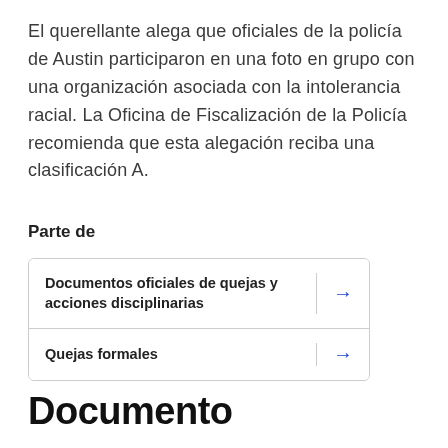El querellante alega que oficiales de la policía de Austin participaron en una foto en grupo con una organización asociada con la intolerancia racial. La Oficina de Fiscalización de la Policía recomienda que esta alegación reciba una clasificación A.
Parte de
| Documento |  |
| --- | --- |
| Documentos oficiales de quejas y acciones disciplinarias | → |
| Quejas formales | → |
Documento